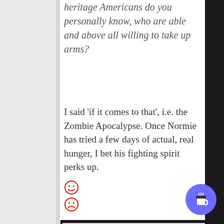heritage Americans do you personally know, who are able and above all willing to take up arms?
I said ‘if it comes to that’, i.e. the Zombie Apocalypse. Once Normie has tried a few days of actual, real hunger, I bet his fighting spirit perks up.
[Figure (other): Two red smiley/frowny face emoji icons stacked vertically]
[Figure (other): Blue circular button with coffee cup icon in bottom right corner]